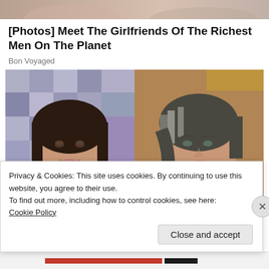[Figure (photo): Partial top image showing people, cropped at top of page]
[Photos] Meet The Girlfriends Of The Richest Men On The Planet
Bon Voyaged
[Figure (photo): Two side-by-side photos of women. Left: woman with dark bob haircut against a quilt/patchwork background. Right: woman with gray-highlighted short hair against a warm brown background.]
Privacy & Cookies: This site uses cookies. By continuing to use this website, you agree to their use.
To find out more, including how to control cookies, see here:
Cookie Policy
Close and accept